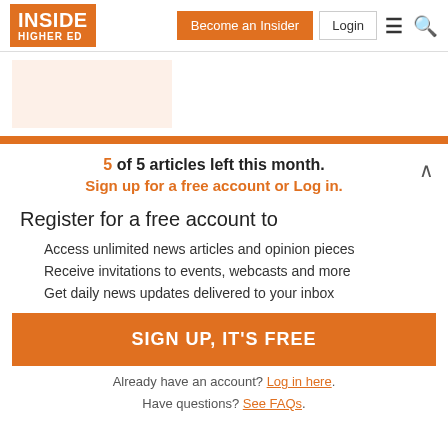INSIDE HIGHER ED | Become an Insider | Login
[Figure (other): Inside Higher Ed logo - orange box with white text]
5 of 5 articles left this month. Sign up for a free account or Log in.
Register for a free account to
Access unlimited news articles and opinion pieces
Receive invitations to events, webcasts and more
Get daily news updates delivered to your inbox
SIGN UP, IT'S FREE
Already have an account? Log in here.
Have questions? See FAQs.